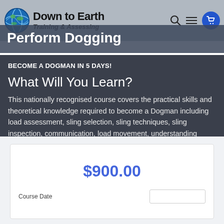Down to Earth Training & Assessing
Perform Dogging
BECOME A DOGMAN IN 5 DAYS!
What Will You Learn?
This nationally recognised course covers the practical skills and theoretical knowledge required to become a Dogman including load assessment, sling selection, sling techniques, sling inspection, communication, load movement, understanding crane characteristics and capacities.
$900.00
Course Date